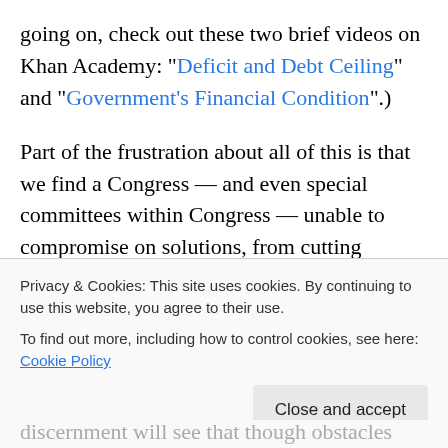going on, check out these two brief videos on Khan Academy: “Deficit and Debt Ceiling” and “Government’s Financial Condition”.)
Part of the frustration about all of this is that we find a Congress — and even special committees within Congress — unable to compromise on solutions, from cutting existing spending to changing existing revenue policies (i.e. taxes).
In that context, I was struck by this quote from Alexander Hamilton from 1790. Here’s a founder who probably...
Privacy & Cookies: This site uses cookies. By continuing to use this website, you agree to their use.
To find out more, including how to control cookies, see here: Cookie Policy